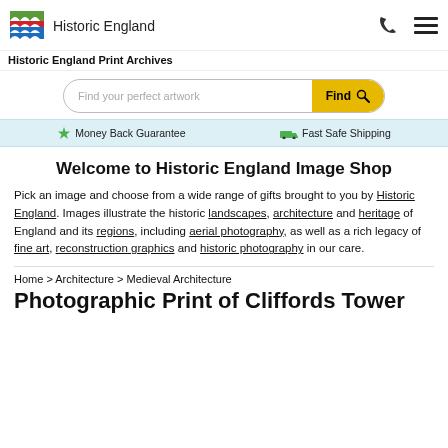Historic England
Historic England Print Archives
Find your perfect artwork  Find
Money Back Guarantee   Fast Safe Shipping
Welcome to Historic England Image Shop
Pick an image and choose from a wide range of gifts brought to you by Historic England. Images illustrate the historic landscapes, architecture and heritage of England and its regions, including aerial photography, as well as a rich legacy of fine art, reconstruction graphics and historic photography in our care.
Home > Architecture > Medieval Architecture
Photographic Print of Cliffords Tower